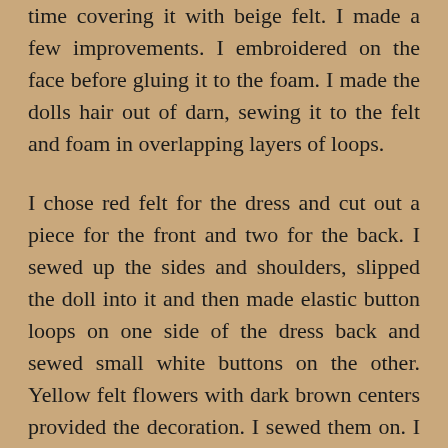time covering it with beige felt. I made a few improvements. I embroidered on the face before gluing it to the foam. I made the dolls hair out of darn, sewing it to the felt and foam in overlapping layers of loops.
I chose red felt for the dress and cut out a piece for the front and two for the back. I sewed up the sides and shoulders, slipped the doll into it and then made elastic button loops on one side of the dress back and sewed small white buttons on the other. Yellow felt flowers with dark brown centers provided the decoration. I sewed them on. I plan to make